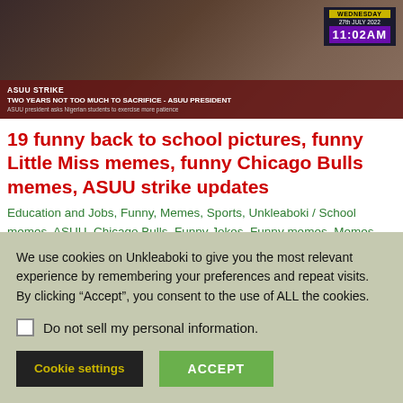[Figure (screenshot): TV news broadcast screenshot showing ASUU Strike coverage with date Wednesday 27th July 2022 and time 11:02AM, headline TWO YEARS NOT TOO MUCH TO SACRIFICE - ASUU PRESIDENT]
19 funny back to school pictures, funny Little Miss memes, funny Chicago Bulls memes, ASUU strike updates
Education and Jobs, Funny, Memes, Sports, Unkleaboki / School memes, ASUU, Chicago Bulls, Funny Jokes, Funny memes, Memes, NBA, Unkleaboki Funny Memes
We use cookies on Unkleaboki to give you the most relevant experience by remembering your preferences and repeat visits. By clicking “Accept”, you consent to the use of ALL the cookies.
Do not sell my personal information.
Cookie settings  ACCEPT